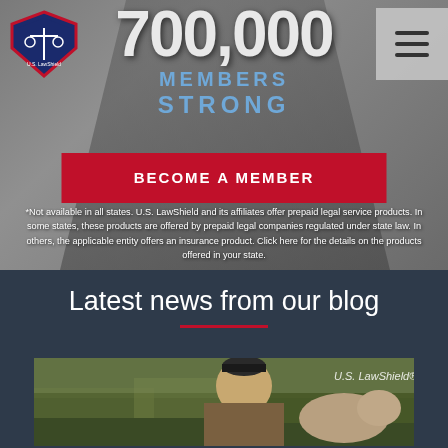[Figure (photo): Hero banner with number '700,000' and text 'MEMBERS STRONG' over a background image of people, with U.S. LawShield logo top-left and hamburger menu top-right]
[Figure (logo): U.S. LawShield shield/badge logo in top-left corner]
700,000
MEMBERS
STRONG
BECOME A MEMBER
*Not available in all states. U.S. LawShield and its affiliates offer prepaid legal service products. In some states, these products are offered by prepaid legal companies regulated under state law. In others, the applicable entity offers an insurance product. Click here for the details on the products offered in your state.
Latest news from our blog
[Figure (photo): Blog section preview image showing a man in camouflage clothing with a dog in an outdoor/field setting, with U.S. LawShield watermark in top-right]